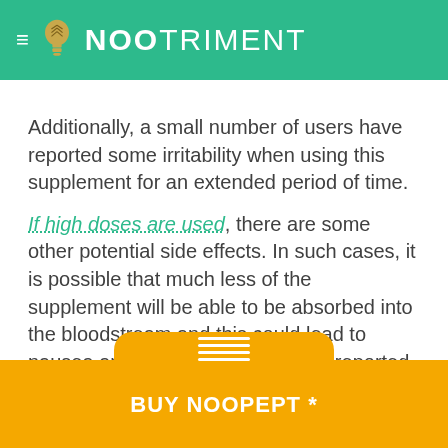NOOTRIMENT
Additionally, a small number of users have reported some irritability when using this supplement for an extended period of time.
If high doses are used, there are some other potential side effects. In such cases, it is possible that much less of the supplement will be able to be absorbed into the bloodstream and this could lead to nausea and stomach upset. Other reported high dose side effects are insomnia and elevated blood pressure.
BUY NOOPEPT *